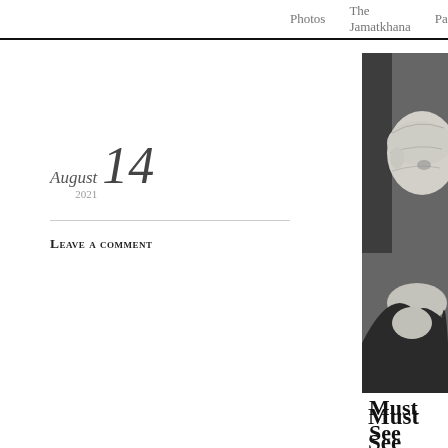Photos   The Jamatkhana   Passings   Slo
August 2021  14
Leave a comment
[Figure (photo): Black and white close-up photograph of an elderly man in contemplative pose, resting his chin on his hand, wearing a dark jacket]
Must See Video: Bruno Fre... Insights Into the Making of... Jamatkhana and Centre in...